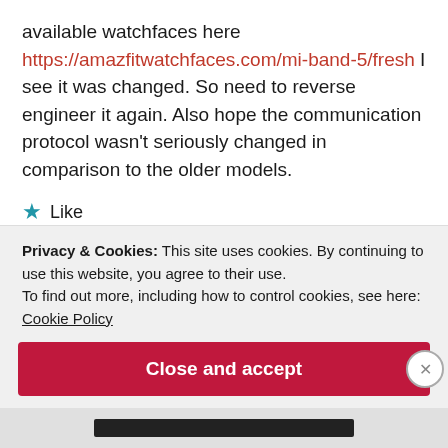available watchfaces here https://amazfitwatchfaces.com/mi-band-5/fresh I see it was changed. So need to reverse engineer it again. Also hope the communication protocol wasn't seriously changed in comparison to the older models.
★ Like
Reply
Privacy & Cookies: This site uses cookies. By continuing to use this website, you agree to their use.
To find out more, including how to control cookies, see here:
Cookie Policy
Close and accept